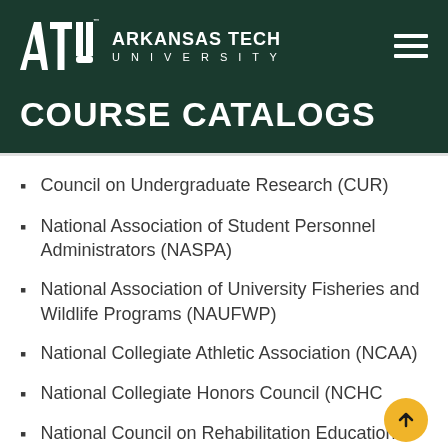[Figure (logo): Arkansas Tech University logo with ATU letters and hamburger menu icon on dark green background]
COURSE CATALOGS
Council on Undergraduate Research (CUR)
National Association of Student Personnel Administrators (NASPA)
National Association of University Fisheries and Wildlife Programs (NAUFWP)
National Collegiate Athletic Association (NCAA)
National Collegiate Honors Council (NCHC)
National Council on Rehabilitation Education (NCRE)